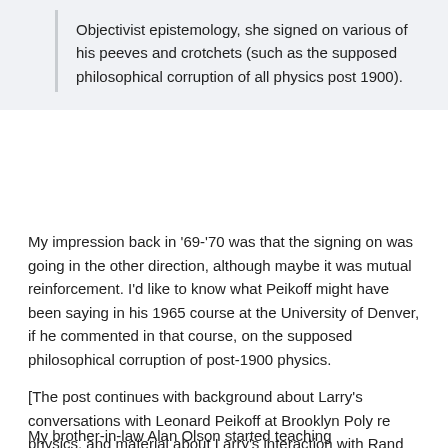Objectivist epistemology, she signed on various of his peeves and crotchets (such as the supposed philosophical corruption of all physics post 1900).
My impression back in '69-'70 was that the signing on was going in the other direction, although maybe it was mutual reinforcement. I'd like to know what Peikoff might have been saying in his 1965 course at the University of Denver, if he commented in that course, on the supposed philosophical corruption of post-1900 physics.
[The post continues with background about Larry's conversations with Leonard Peikoff at Brooklyn Poly re physics, and material about Larry's interaction with Rand on the subject of physics' "corruption" at the Workshop.]
My brother-in-law Alan Olson started teaching anthropology at